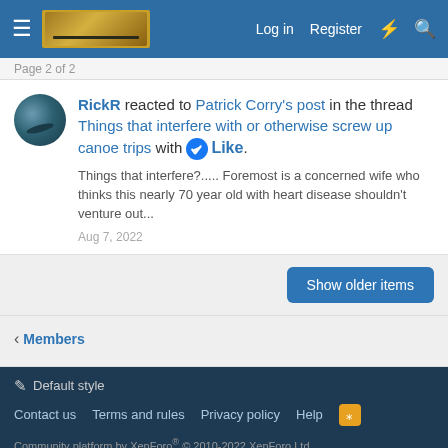Log in  Register
Page 2 of 2
RickR reacted to Patrick Corry's post in the thread Things that interfere with or otherwise screw up canoe trips with Like.
Things that interfere?..... Foremost is a concerned wife who thinks this nearly 70 year old with heart disease shouldn't venture out...
Aug 7, 2022
Show older items
Members
Default style
Contact us  Terms and rules  Privacy policy  Help
Community platform by XenForo® © 2010-2022 XenForo Ltd.